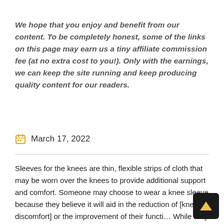We hope that you enjoy and benefit from our content. To be completely honest, some of the links on this page may earn us a tiny affiliate commission fee (at no extra cost to you!). Only with the earnings, we can keep the site running and keep producing quality content for our readers.
March 17, 2022
Sleeves for the knees are thin, flexible strips of cloth that may be worn over the knees to provide additional support and comfort. Someone may choose to wear a knee sleeve because they believe it will aid in the reduction of [knee discomfort] or the improvement of their functi... While they are not intended to be a substitute for phy...